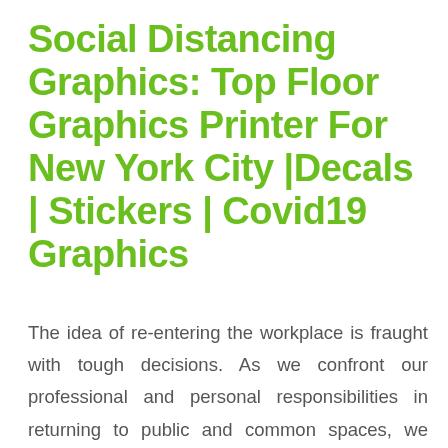Social Distancing Graphics: Top Floor Graphics Printer For New York City | Decals | Stickers | Covid19 Graphics
The idea of re-entering the workplace is fraught with tough decisions. As we confront our professional and personal responsibilities in returning to public and common spaces, we have some great